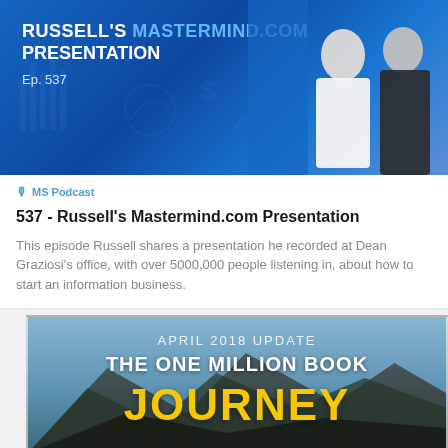[Figure (screenshot): Podcast episode thumbnail with blue gradient background showing text: RUSSELL'S MASTERMIND.COM PRESENTATION, Ep. 537, with two people on the right side]
MS Podcast
537 - Russell's Mastermind.comï Presentation
This episode Russell shares a presentation he recorded at Dean Graziosi's office, with over 5000,000 people listening in, about how to start an information business.
[Figure (screenshot): Bottom thumbnail with mountain background, text: APRIL 2018 UPDATE, THE ONE MILLION BOOK, JOURNEY in yellow large text]